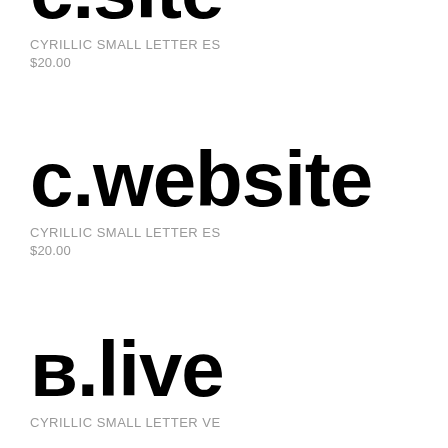с.site
CYRILLIC SMALL LETTER ES
$20.00
c.website
CYRILLIC SMALL LETTER ES
$20.00
в.live
CYRILLIC SMALL LETTER VE